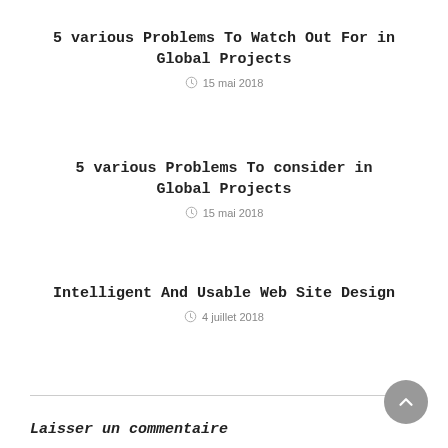5 various Problems To Watch Out For in Global Projects
15 mai 2018
5 various Problems To consider in Global Projects
15 mai 2018
Intelligent And Usable Web Site Design
4 juillet 2018
Laisser un commentaire